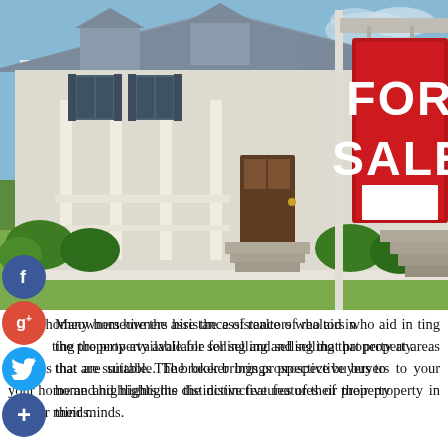[Figure (photo): A suburban house with white columns and shutters visible in the background, with a prominent red 'FOR SALE' real estate sign in the foreground on a white post. The sign has white bold text reading 'FOR SALE' and a blank white panel at the bottom.]
Many homeowners hire the assistance of realtors who aid in listing the property available for selling and selling that property at areas that are suitable. The broker brings prospective buyers to your home and highlights the distinctive features of their property in their minds.